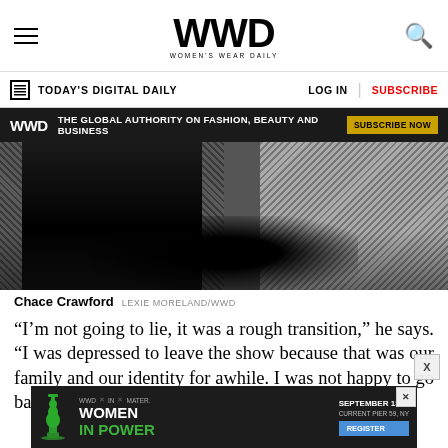WWD WOMEN'S WEAR DAILY
TODAY'S DIGITAL DAILY | LOG IN | SUBSCRIBE
WWD THE GLOBAL AUTHORITY ON FASHION, BEAUTY AND BUSINESS | SUBSCRIBE NOW
[Figure (photo): Close-up photo of Chace Crawford in a textured knit/woven suit jacket, dark background]
Chace Crawford LEXIE MORELAND/WWD
“I’m not going to lie, it was a rough transition,” he says. “I was depressed to leave the show because that was our family and our identity for awhile. I was not happy to go back to L.A. In retrospect, I
[Figure (infographic): WWD x IN x MATER Women In Power event ad. September 13, Current Pier 59, NY. Register button.]